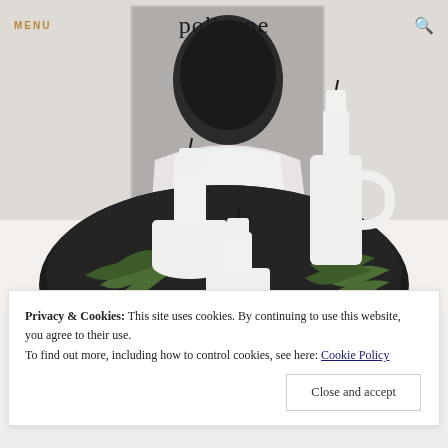MENU  polienne  [search icon]
[Figure (photo): A lifestyle/interior photo showing white ceramic candle holders and a white bottle with a handle, arranged on a black round tray with green olive branches. A black and white portrait photograph is visible in the background, leaning against a light wall.]
Privacy & Cookies: This site uses cookies. By continuing to use this website, you agree to their use.
To find out more, including how to control cookies, see here: Cookie Policy
Close and accept